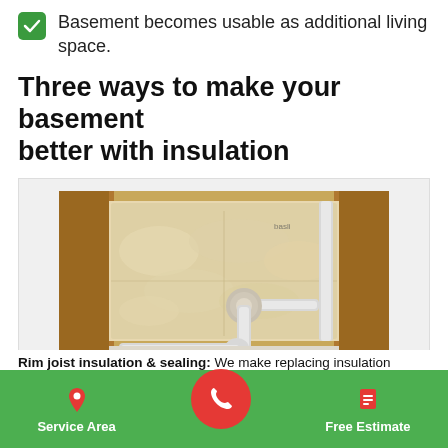Basement becomes usable as additional living space.
Three ways to make your basement better with insulation
[Figure (photo): Photo of rim joist insulation and sealing in a basement showing spray foam insulation applied around a pipe penetration through the rim joist area, with wooden framing visible and PVC plumbing pipes.]
Rim joist insulation & sealing: We make replacing insulation...
Service Area | [phone button] | Free Estimate